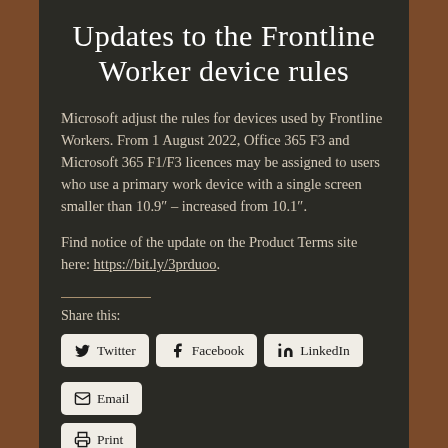Updates to the Frontline Worker device rules
Microsoft adjust the rules for devices used by Frontline Workers. From 1 August 2022, Office 365 F3 and Microsoft 365 F1/F3 licences may be assigned to users who use a primary work device with a single screen smaller than 10.9” – increased from 10.1”.
Find notice of the update on the Product Terms site here: https://bit.ly/3prduoo.
Share this:
Twitter  Facebook  LinkedIn  Email  Print